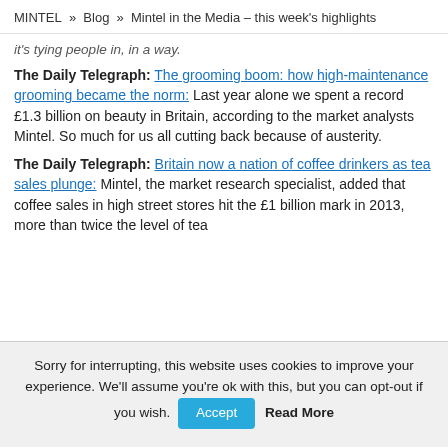MINTEL » Blog » Mintel in the Media – this week's highlights
it's tying people in, in a way.
The Daily Telegraph: The grooming boom: how high-maintenance grooming became the norm: Last year alone we spent a record £1.3 billion on beauty in Britain, according to the market analysts Mintel. So much for us all cutting back because of austerity.
The Daily Telegraph: Britain now a nation of coffee drinkers as tea sales plunge: Mintel, the market research specialist, added that coffee sales in high street stores hit the £1 billion mark in 2013, more than twice the level of tea
Sorry for interrupting, this website uses cookies to improve your experience. We'll assume you're ok with this, but you can opt-out if you wish. Accept Read More